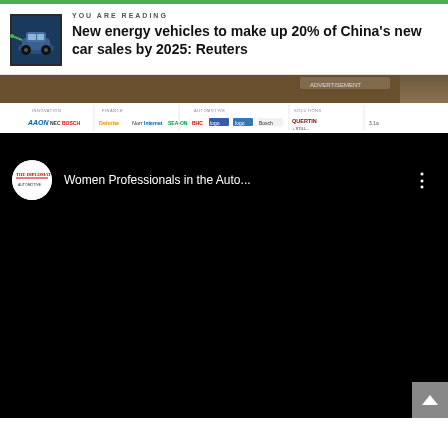YOU ARE READING
New energy vehicles to make up 20% of China's new car sales by 2025: Reuters
[Figure (photo): Conference or trade show banner with sponsor logos including NEC, Bosch, Norr, Sea-On, and other automotive industry sponsors]
[Figure (screenshot): YouTube video embed showing 'Women Professionals in the Auto...' with The Diplomat channel logo, dark/black video area, and a scroll-up button in the bottom right corner]